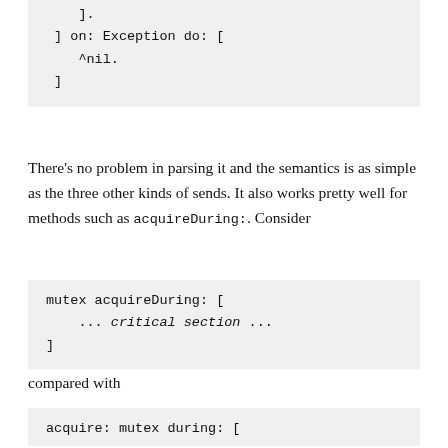[Figure (screenshot): Code block showing end of a method with ]. and ] on: Exception do: [ ^nil. ]]
There's no problem in parsing it and the semantics is as simple as the three other kinds of sends. It also works pretty well for methods such as acquireDuring:. Consider
[Figure (screenshot): Code block showing: mutex acquireDuring: [ ... critical section ... ]]
compared with
[Figure (screenshot): Code block showing: acquire: mutex during: []